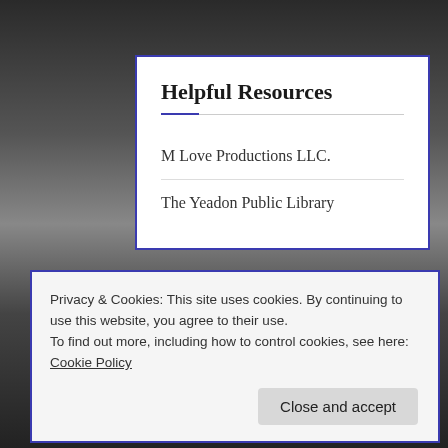[Figure (photo): Dark background photo showing a person's face/eyes partially visible behind the white content cards]
Helpful Resources
M Love Productions LLC.
The Yeadon Public Library
Supporting Our Community Entrepreneurs
Privacy & Cookies: This site uses cookies. By continuing to use this website, you agree to their use.
To find out more, including how to control cookies, see here: Cookie Policy